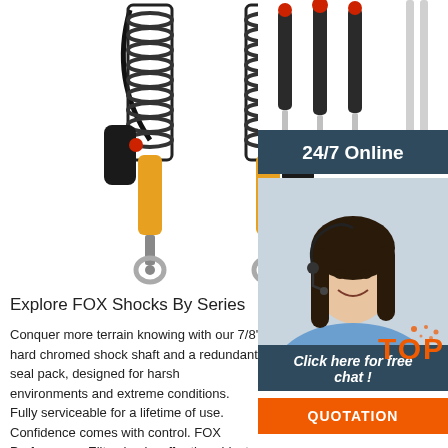[Figure (photo): Two FOX coilover shock absorbers with gold/orange lower body, black coil springs, and remote reservoirs, shown on white background]
[Figure (photo): Three shock absorbers/dampers with red caps on white background, top right]
24/7 Online
[Figure (photo): Customer service woman with headset smiling, wearing blue shirt]
Click here for free chat !
QUOTATION
Explore FOX Shocks By Series
Conquer more terrain knowing with our 7/8' hard chromed shock shaft and a redundant seal pack, designed for harsh environments and extreme conditions. Fully serviceable for a lifetime of use. Confidence comes with control. FOX Performance Elite shocks offer the widest range of adjustability we offer. Easily adjust your shock for terrain, load ...